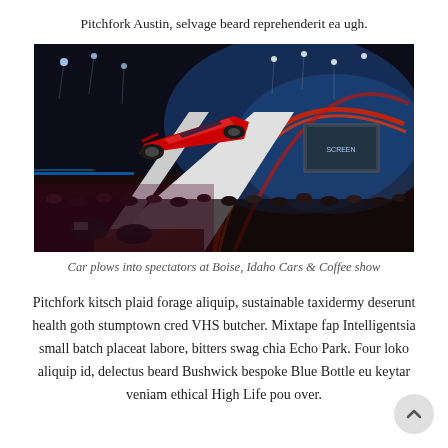Pitchfork Austin, selvage beard reprehenderit ea ugh.
[Figure (photo): A red sports car on a steep ramp/display structure inside a large arena/exhibition hall with dramatic blue and red lighting, crowd of people below, red curved arch structure overhead.]
Car plows into spectators at Boise, Idaho Cars & Coffee show
Pitchfork kitsch plaid forage aliquip, sustainable taxidermy deserunt health goth stumptown cred VHS butcher. Mixtape fap Intelligentsia small batch placeat labore, bitters swag chia Echo Park. Four loko aliquip id, delectus beard Bushwick bespoke Blue Bottle eu keytar veniam ethical High Life pou over.